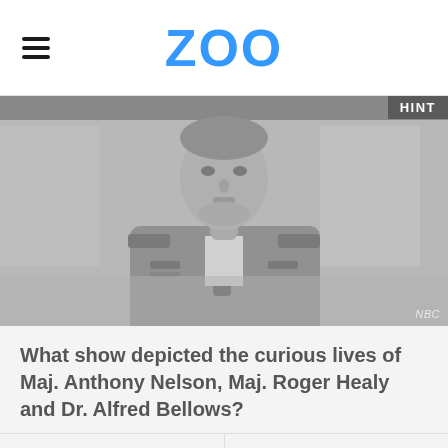ZOO
[Figure (photo): Grayscale/desaturated screenshot from an old TV show showing a man in military uniform with a serious expression, interior setting. NBC watermark visible in bottom right. 'HINT' badge in top right corner.]
What show depicted the curious lives of Maj. Anthony Nelson, Maj. Roger Healy and Dr. Alfred Bellows?
"I Dream of Jeannie"
"F Troop"